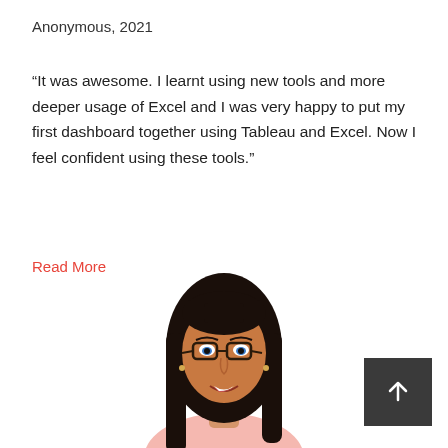Anonymous, 2021
“It was awesome. I learnt using new tools and more deeper usage of Excel and I was very happy to put my first dashboard together using Tableau and Excel. Now I feel confident using these tools.”
Read More
[Figure (photo): Headshot photo of a young woman with long dark hair, wearing glasses, smiling, against a white background. Only the upper portion of her body is visible, cropped at the bottom of the page.]